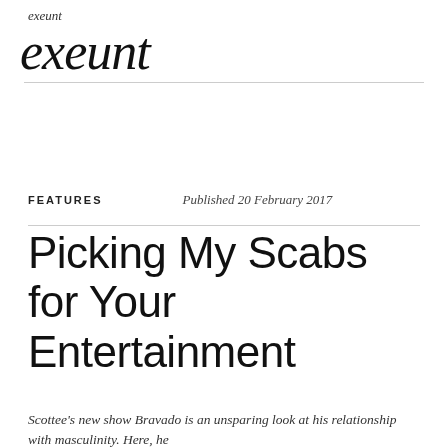exeunt
exeunt
FEATURES    Published 20 February 2017
Picking My Scabs for Your Entertainment
Scottee's new show Bravado is an unsparing look at his relationship with masculinity. Here, he